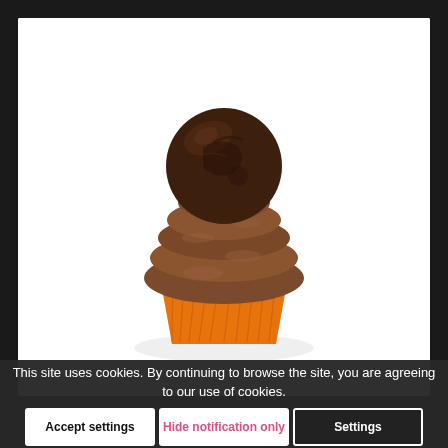[Figure (photo): A chocolate cupcake with swirled chocolate frosting topped by a large round chocolate truffle/bonbon, in an orange foil cupcake wrapper, on a white background.]
This site uses cookies. By continuing to browse the site, you are agreeing to our use of cookies.
Accept settings
Hide notification only
Settings